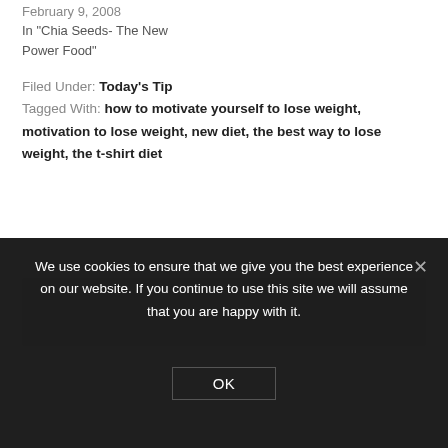February 9, 2008
In "Chia Seeds- The New Power Food"
Filed Under: Today's Tip
Tagged With: how to motivate yourself to lose weight, motivation to lose weight, new diet, the best way to lose weight, the t-shirt diet
We use cookies to ensure that we give you the best experience on our website. If you continue to use this site we will assume that you are happy with it.
OK